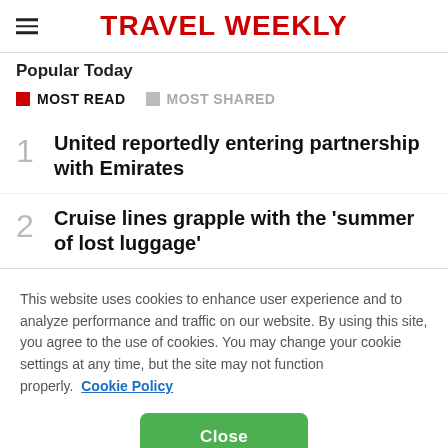TRAVEL WEEKLY
Popular Today
MOST READ   MOST SHARED
1 United reportedly entering partnership with Emirates
2 Cruise lines grapple with the 'summer of lost luggage'
This website uses cookies to enhance user experience and to analyze performance and traffic on our website. By using this site, you agree to the use of cookies. You may change your cookie settings at any time, but the site may not function properly. Cookie Policy
Close